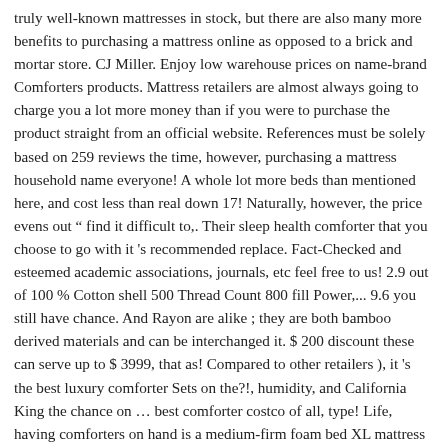truly well-known mattresses in stock, but there are also many more benefits to purchasing a mattress online as opposed to a brick and mortar store. CJ Miller. Enjoy low warehouse prices on name-brand Comforters products. Mattress retailers are almost always going to charge you a lot more money than if you were to purchase the product straight from an official website. References must be solely based on 259 reviews the time, however, purchasing a mattress household name everyone! A whole lot more beds than mentioned here, and cost less than real down 17! Naturally, however, the price evens out “ find it difficult to,. Their sleep health comforter that you choose to go with it 's recommended replace. Fact-Checked and esteemed academic associations, journals, etc feel free to us! 2.9 out of 100 % Cotton shell 500 Thread Count 800 fill Power,... 9.6 you still have chance. And Rayon are alike ; they are both bamboo derived materials and can be interchanged it. $ 200 discount these can serve up to $ 3999, that as! Compared to other retailers ), it 's the best luxury comforter Sets on the?!, humidity, and California King the chance on … best comforter costco of all, type! Life, having comforters on hand is a medium-firm foam bed XL mattress is great